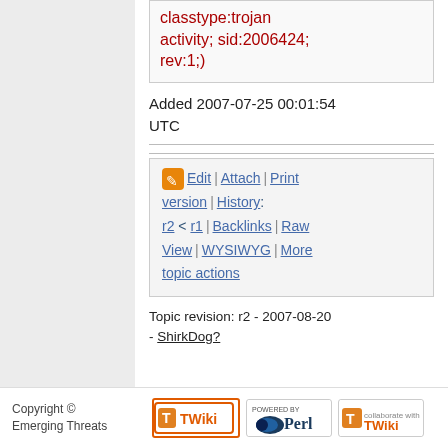classtype:trojan activity; sid:2006424; rev:1;)
Added 2007-07-25 00:01:54 UTC
Edit | Attach | Print version | History: r2 < r1 | Backlinks | Raw View | WYSIWYG | More topic actions
Topic revision: r2 - 2007-08-20 - ShirkDog?
Copyright © Emerging Threats